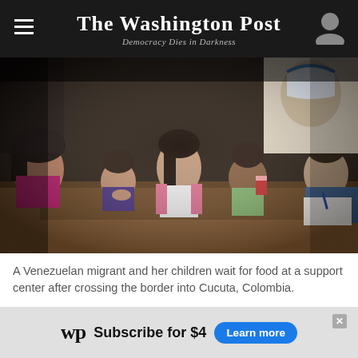The Washington Post — Democracy Dies in Darkness
[Figure (photo): A Venezuelan migrant woman in a pink vest sits at a wooden table with her children in a dimly lit support center. Other children and adults are visible around the table. Posters and a large portrait of Mother Teresa are visible in the background.]
A Venezuelan migrant and her children wait for food at a support center after crossing the border into Cucuta, Colombia.
[Figure (infographic): Advertisement banner for The Washington Post: WP logo followed by 'Subscribe for $4' text and a 'Learn more' blue button. A close/X button appears in the upper right corner.]